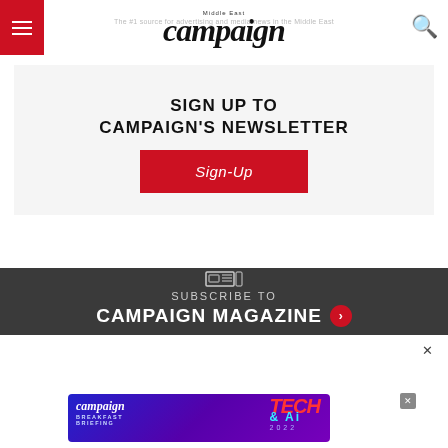campaign Middle East
SIGN UP TO CAMPAIGN'S NEWSLETTER
[Figure (other): Red Sign-Up button]
[Figure (other): Newspaper icon]
SUBSCRIBE TO CAMPAIGN MAGAZINE
[Figure (other): Campaign Tech & AI 2022 advertisement banner]